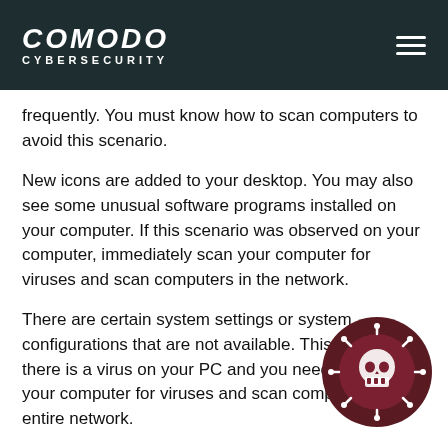COMODO CYBERSECURITY
frequently. You must know how to scan computers to avoid this scenario.
New icons are added to your desktop. You may also see some unusual software programs installed on your computer. If this scenario was observed on your computer, immediately scan your computer for viruses and scan computers in the network.
There are certain system settings or system configurations that are not available. This is because there is a virus on your PC and you need to scan your computer for viruses and scan computers in the entire network.
Advertising